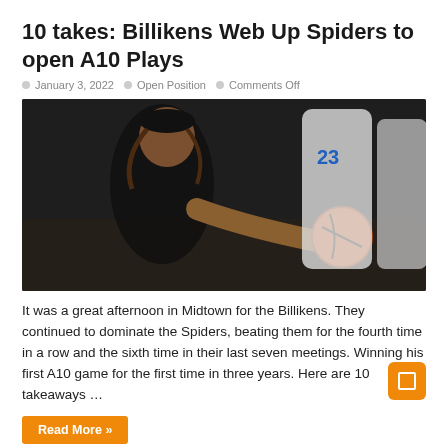10 takes: Billikens Web Up Spiders to open A10 Plays
January 3, 2022   Open Position   Comments Off
[Figure (photo): Basketball game action photo showing a player in a black uniform reaching for the ball while defenders in white uniforms with number 23 contest]
It was a great afternoon in Midtown for the Billikens. They continued to dominate the Spiders, beating them for the fourth time in a row and the sixth time in their last seven meetings. Winning his first A10 game for the first time in three years. Here are 10 takeaways …
Read More »